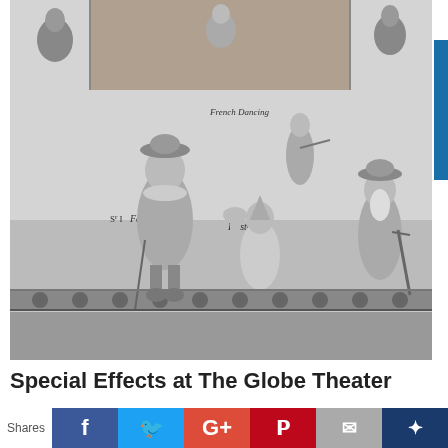[Figure (illustration): Historical engraving showing theatrical characters on a stage. Characters labeled include Falstaffe, Hostes, a French Dancing character, and Clause. Shows actors in period costume performing at what appears to be an early modern English theater.]
Special Effects at The Globe Theater
Shares
Social share buttons: Facebook, Twitter, Google+, Pinterest, Email, Bookmark